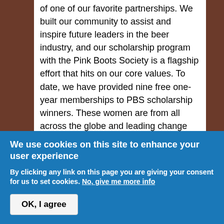of one of our favorite partnerships. We built our community to assist and inspire future leaders in the beer industry, and our scholarship program with the Pink Boots Society is a flagship effort that hits on our core values. To date, we have provided nine free one-year memberships to PBS scholarship winners. These women are from all across the globe and leading change for the better within their communities. Please join us in recognizing our first year's scholarship winners:
We use cookies on this site to enhance your user experience
By clicking any link on this page you are giving your consent for us to set cookies. No, give me more info
OK, I agree